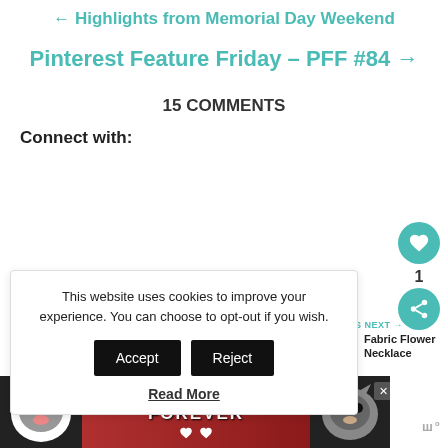← Highlights from Memorial Day Weekend
Pinterest Feature Friday – PFF #84 →
15 COMMENTS
Connect with:
This website uses cookies to improve your experience. You can choose to opt-out if you wish.
Read More
[Figure (screenshot): WHAT'S NEXT → Fabric Flower Necklace with thumbnail photo]
[Figure (photo): Ad banner showing two cats with text BEST FRIENDS FOREVER]
ш°